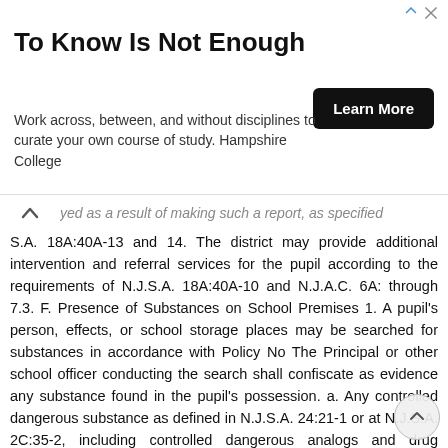[Figure (other): Advertisement banner for Hampshire College with title 'To Know Is Not Enough', subtext 'Work across, between, and without disciplines to curate your own course of study. Hampshire College', and a black 'Learn More' button.]
...yed as a result of making such a report, as specified...S.A. 18A:40A-13 and 14. The district may provide additional intervention and referral services for the pupil according to the requirements of N.J.S.A. 18A:40A-10 and N.J.A.C. 6A: through 7.3. F. Presence of Substances on School Premises 1. A pupil's person, effects, or school storage places may be searched for substances in accordance with Policy No The Principal or other school officer conducting the search shall confiscate as evidence any substance found in the pupil's possession. a. Any controlled dangerous substance as defined in N.J.S.A. 24:21-1 or at N.J.S.A. 2C:35-2, including controlled dangerous analogs and drug paraphernalia, shall be handled in accordance with Policy No and implementing regulations. b. Any substance or evidence of the use of a substance other than a controlled dangerous substance shall be sealed in an appropriate container and labeled with the date, name of the pupil, and name of the school official...